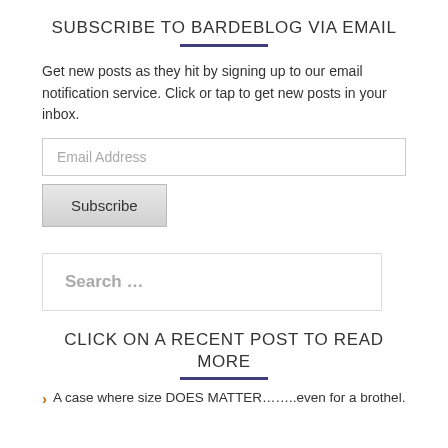SUBSCRIBE TO BARDEBLOG VIA EMAIL
Get new posts as they hit by signing up to our email notification service. Click or tap to get new posts in your inbox.
Email Address
Subscribe
Search …
CLICK ON A RECENT POST TO READ MORE
A case where size DOES MATTER……..even for a brothel.